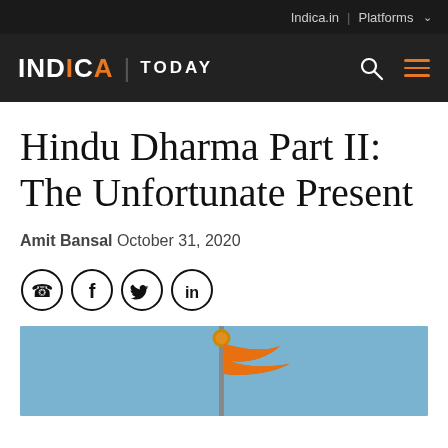Indica.in | Platforms
INDICA | TODAY
Hindu Dharma Part II: The Unfortunate Present
Amit Bansal  October 31, 2020
[Figure (other): Social share icons: WhatsApp, Facebook, Twitter, LinkedIn]
[Figure (photo): Photo showing an orange/saffron flag against a blue sky, with a decorative finial at the top of a flagpole]